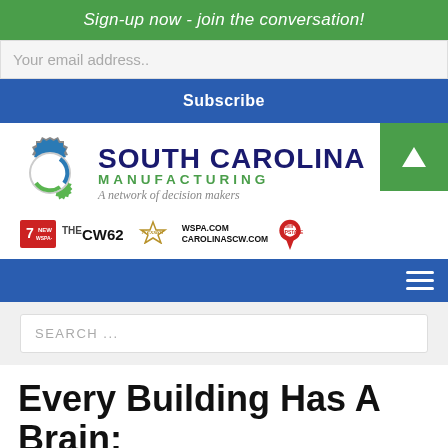Sign-up now - join the conversation!
Your email address..
Subscribe
[Figure (logo): South Carolina Manufacturing logo with gear icon - 'A network of decision makers'. Partner logos: 7NEWS WSPA-TV, CW62, Nexstar, WSPA.COM CAROLINASCW.COM, Livin' Upstate]
SEARCH ...
Every Building Has A Brain;